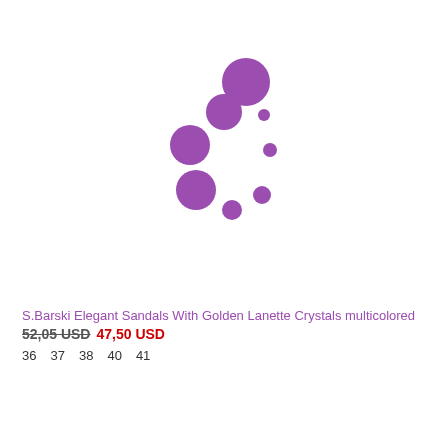[Figure (other): Loading spinner animation made of purple circles arranged in a circular pattern]
S.Barski Elegant Sandals With Golden Lanette Crystals multicolored
52,05 USD 47,50 USD
36  37  38  40  41